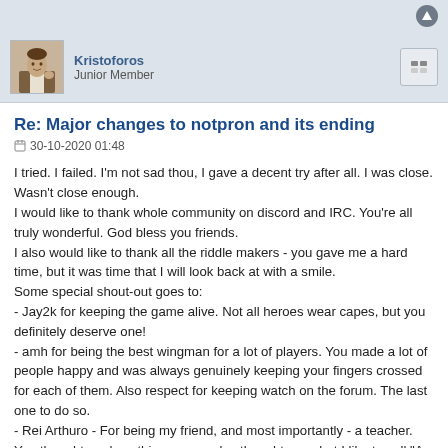Kristoforos
Junior Member
Re: Major changes to notpron and its ending
30-10-2020 01:48
I tried. I failed. I'm not sad thou, I gave a decent try after all. I was close. Wasn't close enough.
I would like to thank whole community on discord and IRC. You're all truly wonderful. God bless you friends.
I also would like to thank all the riddle makers - you gave me a hard time, but it was time that I will look back at with a smile.
Some special shout-out goes to:
- Jay2k for keeping the game alive. Not all heroes wear capes, but you definitely deserve one!
- amh for being the best wingman for a lot of players. You made a lot of people happy and was always genuinely keeping your fingers crossed for each of them. Also respect for keeping watch on the forum. The last one to do so.
- Rei Arthuro - For being my friend, and most importantly - a teacher. You thaught me how this game works, thought me what I like to call "A golden rule of NotPron". That knowladge was useful for me throughout my whole run. All the conversations that we had, and the jokes that we made, won't